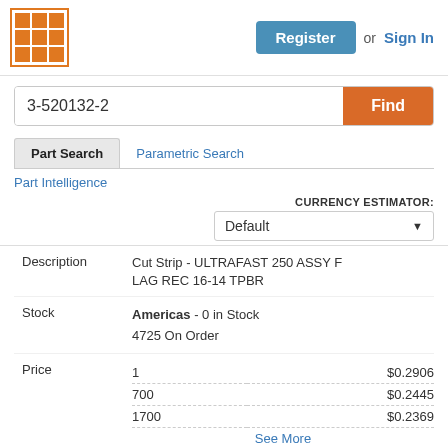[Figure (logo): Orange grid/matrix logo icon in a square border]
Register or Sign In
3-520132-2
Find
Part Search
Parametric Search
Part Intelligence
CURRENCY ESTIMATOR: Default
|  |  |
| --- | --- |
| Description | Cut Strip - ULTRAFAST 250 ASSY FLAG REC 16-14 TPBR |
| Stock | Americas - 0 in Stock
4725 On Order |
| Price | 1   $0.2906
700   $0.2445
1700   $0.2369
See More |
| Buy | Buy Now |